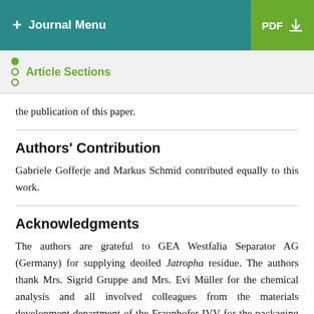+ Journal Menu  PDF ↓
Article Sections
the publication of this paper.
Authors' Contribution
Gabriele Gofferje and Markus Schmid contributed equally to this work.
Acknowledgments
The authors are grateful to GEA Westfalia Separator AG (Germany) for supplying deoiled Jatropha residue. The authors thank Mrs. Sigrid Gruppe and Mrs. Evi Müller for the chemical analysis and all involved colleagues from the materials development department of the Fraunhofer IVV for the packaging relevant analysis of the Jatropha protein based cast films and to Daniel Schweer for his assistance on the evaluation